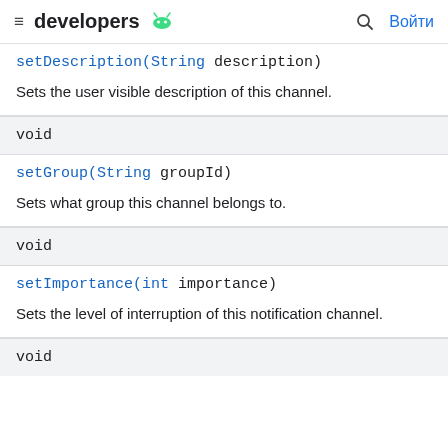≡ developers 🤖  🔍 Войти
setDescription(String description)
Sets the user visible description of this channel.
void
setGroup(String groupId)
Sets what group this channel belongs to.
void
setImportance(int importance)
Sets the level of interruption of this notification channel.
void